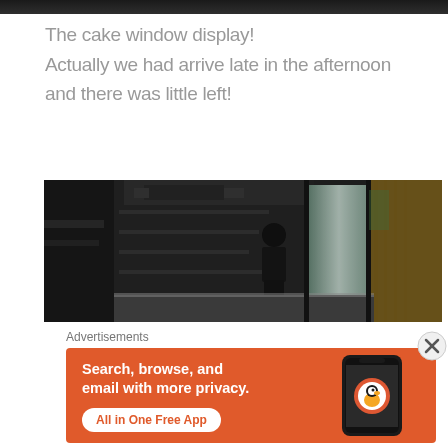[Figure (photo): Dark strip at top, bottom edge of a photo showing a cake window display]
The cake window display! Actually we had arrive late in the afternoon and there was little left!
[Figure (photo): Interior of a bakery/shop viewed through glass, showing a person standing inside near shelves, dark interior with natural light from windows on the right side]
Advertisements
[Figure (infographic): DuckDuckGo advertisement banner with orange background. Text reads: Search, browse, and email with more privacy. All in One Free App. DuckDuckGo logo and phone graphic on the right.]